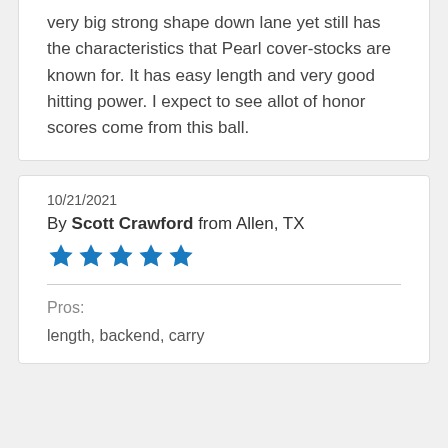very big strong shape down lane yet still has the characteristics that Pearl cover-stocks are known for. It has easy length and very good hitting power. I expect to see allot of honor scores come from this ball.
10/21/2021
By Scott Crawford from Allen, TX
[Figure (other): 5 blue star rating icons]
Pros:
length, backend, carry